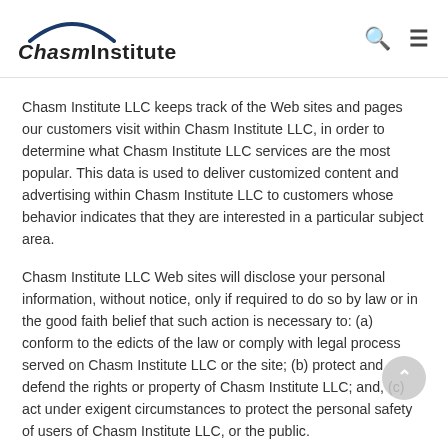ChasmInstitute
Chasm Institute LLC keeps track of the Web sites and pages our customers visit within Chasm Institute LLC, in order to determine what Chasm Institute LLC services are the most popular. This data is used to deliver customized content and advertising within Chasm Institute LLC to customers whose behavior indicates that they are interested in a particular subject area.
Chasm Institute LLC Web sites will disclose your personal information, without notice, only if required to do so by law or in the good faith belief that such action is necessary to: (a) conform to the edicts of the law or comply with legal process served on Chasm Institute LLC or the site; (b) protect and defend the rights or property of Chasm Institute LLC; and, (c) act under exigent circumstances to protect the personal safety of users of Chasm Institute LLC, or the public.
Use of Cookies